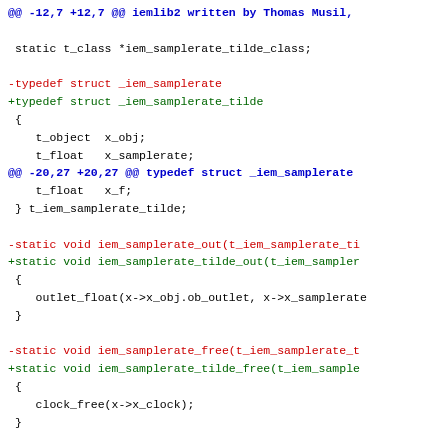@@ -12,7 +12,7 @@ iemlib2 written by Thomas Musil,
static t_class *iem_samplerate_tilde_class;
-typedef struct _iem_samplerate
+typedef struct _iem_samplerate_tilde
 {
    t_object  x_obj;
    t_float   x_samplerate;
@@ -20,27 +20,27 @@ typedef struct _iem_samplerate
    t_float   x_f;
 } t_iem_samplerate_tilde;
-static void iem_samplerate_out(t_iem_samplerate_ti
+static void iem_samplerate_tilde_out(t_iem_sampler
 {
    outlet_float(x->x_obj.ob_outlet, x->x_samplerate
 }
-static void iem_samplerate_free(t_iem_samplerate_t
+static void iem_samplerate_tilde_free(t_iem_sample
 {
    clock_free(x->x_clock);
 }
-static void *iem_samplerate_new(t_symbol *s)
+static void *iem_samplerate_tilde_new(t_symbol *s)
 {
    t_iem_samplerate_tilde *x = (t_iem_samplerate_ti
 -   x->x_clock = clock_new(x, (t_method)iem_sampler